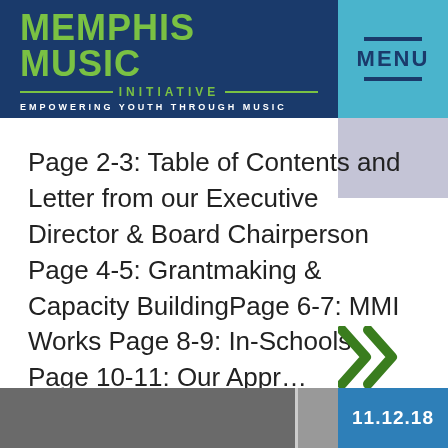MEMPHIS MUSIC INITIATIVE — EMPOWERING YOUTH THROUGH MUSIC
Page 2-3: Table of Contents and Letter from our Executive Director & Board Chairperson Page 4-5: Grantmaking & Capacity BuildingPage 6-7: MMI Works Page 8-9: In-Schools Page 10-11: Our Appr…
[Figure (photo): Bottom strip showing a photo of an interior space and a date badge reading 11.12.18]